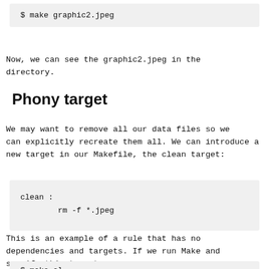$ make graphic2.jpeg
Now, we can see the graphic2.jpeg in the directory.
Phony target
We may want to remove all our data files so we can explicitly recreate them all. We can introduce a new target in our Makefile, the clean target:
clean :
        rm -f *.jpeg
This is an example of a rule that has no dependencies and targets. If we run Make and specify this target,
$ make cl...